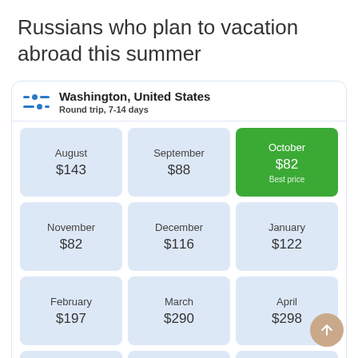Russians who plan to vacation abroad this summer
| Month | Price |
| --- | --- |
| August | $143 |
| September | $88 |
| October | $82 Best price |
| November | $82 |
| December | $116 |
| January | $122 |
| February | $197 |
| March | $290 |
| April | $298 |
| May |  |
| June |  |
| July |  |